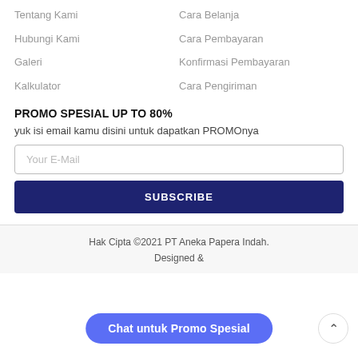Tentang Kami
Cara Belanja
Hubungi Kami
Cara Pembayaran
Galeri
Konfirmasi Pembayaran
Kalkulator
Cara Pengiriman
PROMO SPESIAL UP TO 80%
yuk isi email kamu disini untuk dapatkan PROMOnya
Your E-Mail
SUBSCRIBE
Hak Cipta ©2021 PT Aneka Papera Indah.
Designed &
Chat untuk Promo Spesial